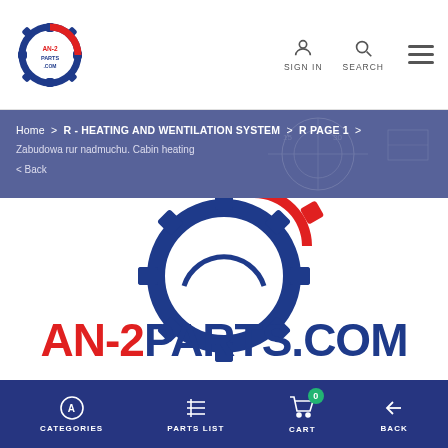[Figure (logo): AN-2PARTS.COM logo with gear icon in header]
SIGN IN   SEARCH   [menu]
Home > R - HEATING AND WENTILATION SYSTEM > R PAGE 1 > Zabudowa rur nadmuchu. Cabin heating
< Back
[Figure (logo): Large AN-2PARTS.COM logo with blue and red gear graphic and bold red/blue text]
CATEGORIES   PARTS LIST   CART   BACK